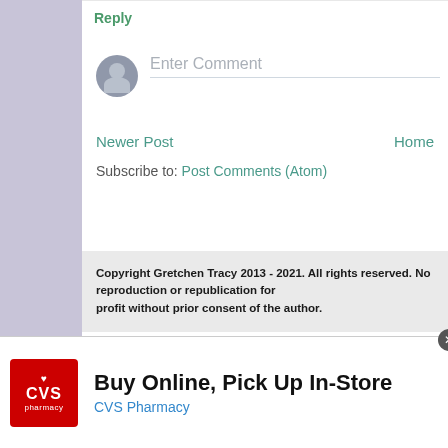Reply
Enter Comment
Newer Post
Home
Subscribe to: Post Comments (Atom)
Copyright Gretchen Tracy 2013 - 2021. All rights reserved. No reproduction or republication for profit without prior consent of the author.
[Figure (screenshot): CVS Pharmacy advertisement banner: Buy Online, Pick Up In-Store with CVS Pharmacy logo and navigation arrow icon]